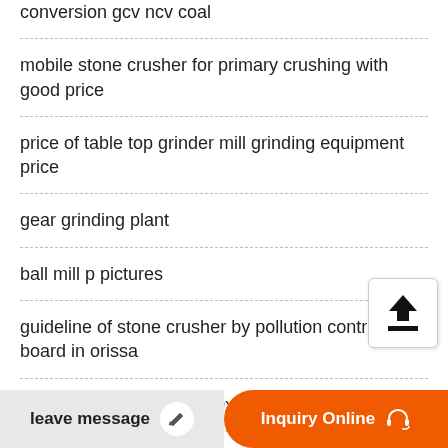conversion gcv ncv coal
mobile stone crusher for primary crushing with good price
price of table top grinder mill grinding equipment price
gear grinding plant
ball mill p pictures
guideline of stone crusher by pollution control board in orissa
crusher jaws pdf type 200x300 shanghai
home heavy equipment use